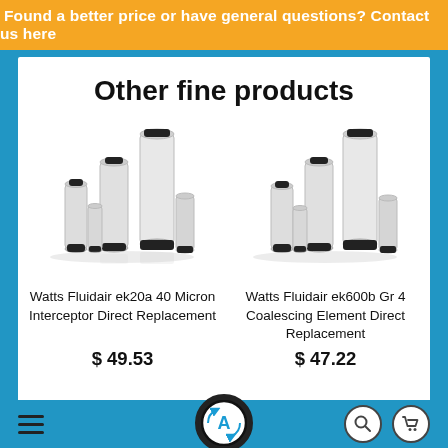Found a better price or have general questions? Contact us here
Other fine products
[Figure (photo): Group of white cylindrical air filter elements of various sizes for Watts Fluidair ek20a 40 Micron Interceptor]
Watts Fluidair ek20a 40 Micron Interceptor Direct Replacement
$ 49.53
[Figure (photo): Group of white cylindrical air filter elements of various sizes for Watts Fluidair ek600b Gr 4 Coalescing Element]
Watts Fluidair ek600b Gr 4 Coalescing Element Direct Replacement
$ 47.22
[Figure (logo): Circular logo with letter A and arrows, black and white, site navigation logo]